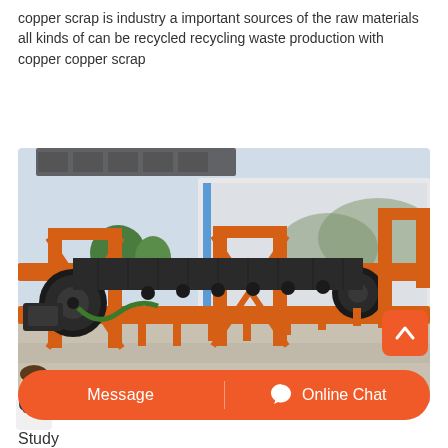copper scrap is industry a important sources of the raw materials all kinds of can be recycled recycling waste production with copper copper scrap
[Figure (photo): Industrial conveyor belt machinery with orange metal frame structure outdoors, with a factory building and trees in the background]
Study